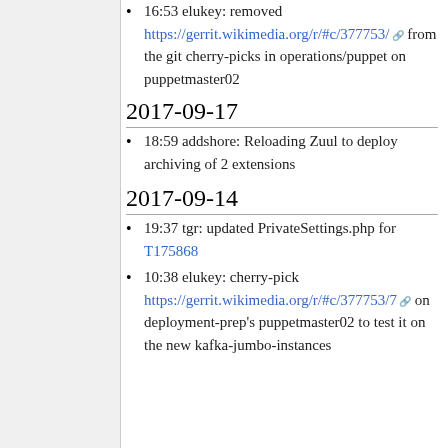16:53 elukey: removed https://gerrit.wikimedia.org/r/#c/377753/ from the git cherry-picks in operations/puppet on puppetmaster02
2017-09-17
18:59 addshore: Reloading Zuul to deploy archiving of 2 extensions
2017-09-14
19:37 tgr: updated PrivateSettings.php for T175868
10:38 elukey: cherry-pick https://gerrit.wikimedia.org/r/#c/377753/7 on deployment-prep's puppetmaster02 to test it on the new kafka-jumbo-instances